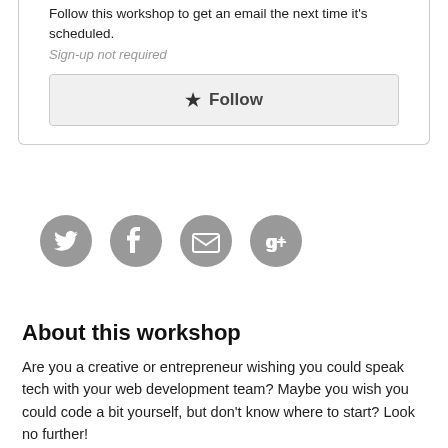Follow this workshop to get an email the next time it's scheduled.
Sign-up not required
★ Follow
[Figure (illustration): Four circular social sharing icons in gray: Twitter bird, Facebook f, email envelope, Google+ g+]
About this workshop
Are you a creative or entrepreneur wishing you could speak tech with your web development team? Maybe you wish you could code a bit yourself, but don't know where to start? Look no further!